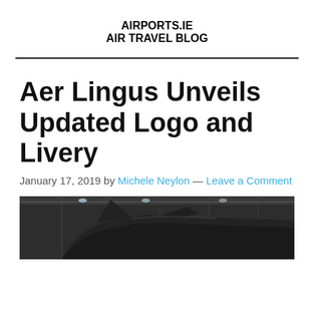AIRPORTS.IE AIR TRAVEL BLOG
Aer Lingus Unveils Updated Logo and Livery
January 17, 2019 by Michele Neylon — Leave a Comment
[Figure (photo): Interior of an aircraft hangar showing the tail section of an airplane, with industrial ceiling and lighting visible]